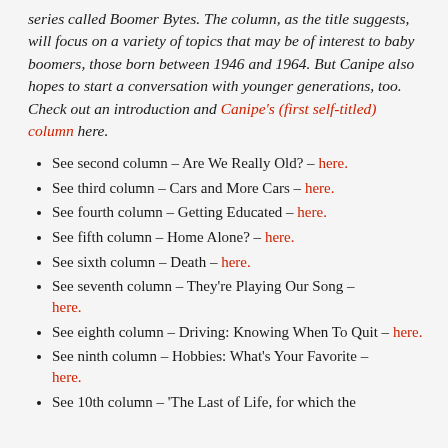series called Boomer Bytes. The column, as the title suggests, will focus on a variety of topics that may be of interest to baby boomers, those born between 1946 and 1964. But Canipe also hopes to start a conversation with younger generations, too. Check out an introduction and Canipe's (first self-titled) column here.
See second column – Are We Really Old? – here.
See third column – Cars and More Cars – here.
See fourth column – Getting Educated – here.
See fifth column – Home Alone? – here.
See sixth column – Death – here.
See seventh column – They're Playing Our Song – here.
See eighth column – Driving: Knowing When To Quit – here.
See ninth column – Hobbies: What's Your Favorite – here.
See 10th column – 'The Last of Life, for which the First was made' – here.